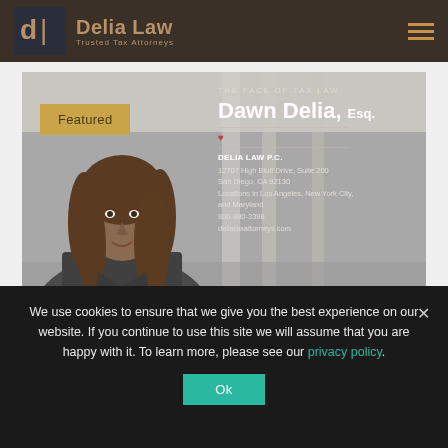Delia Law – Trusted Tax Attorneys
[Figure (photo): Featured attorney photo of Dawn Delia, Esq. with office background. Text overlay: 'THE FACE OF TAX LAW', 'Dawn Delia, Esq.', 'DELIA LAW P.C.', '12707 High Bluff Drive, Suite 200', 'San Diego, CA 92130', 'Locations in Los Angeles, New York City, and Maryland', '800-980-3398', 'deliataxattorneys.com'. Featured badge in gold overlay.]
We use cookies to ensure that we give you the best experience on our website. If you continue to use this site we will assume that you are happy with it. To learn more, please see our privacy policy.
Ok